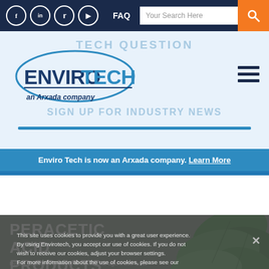Social media icons (Facebook, LinkedIn, Twitter, YouTube), FAQ, Your Search Here, Search button
[Figure (logo): EnviroTech an Arxada company logo with oval outline, blue text]
TECH QUESTION
SIGN UP FOR INDUSTRY NEWS
Enviro Tech is now an Arxada company. Learn More
PERACETIC ACID PRODUCTS
Peracetic acid is an ideal antimicrobial agent due to its high oxidizing potential. It is highly effective against a broad range of microorganisms.
This site uses cookies to provide you with a great user experience. By using Envirotech, you accept our use of cookies. If you do not wish to receive our cookies, adjust your browser settings. For more information about the use of cookies, please see our Privacy Policy.